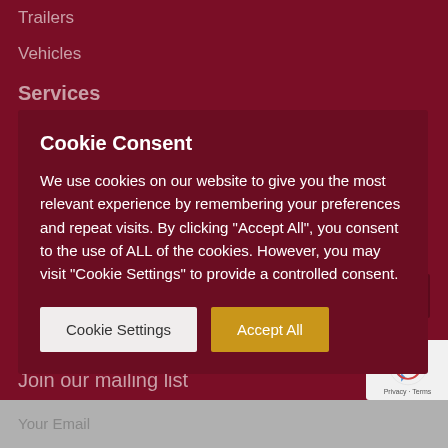Trailers
Vehicles
Services
Cookie Consent
We use cookies on our website to give you the most relevant experience by remembering your preferences and repeat visits. By clicking "Accept All", you consent to the use of ALL of the cookies. However, you may visit "Cookie Settings" to provide a controlled consent.
Cookie Settings
Accept All
Or email us:
admin@louthtractors.co.uk
Join our mailing list
Your Email